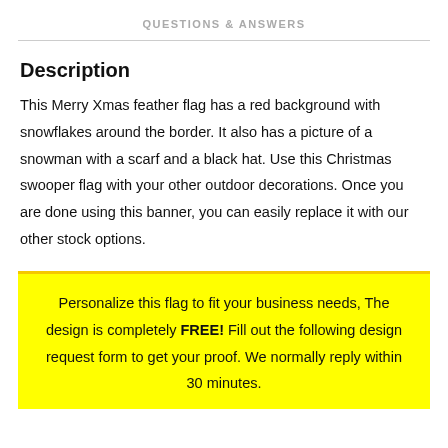QUESTIONS & ANSWERS
Description
This Merry Xmas feather flag has a red background with snowflakes around the border. It also has a picture of a snowman with a scarf and a black hat. Use this Christmas swooper flag with your other outdoor decorations. Once you are done using this banner, you can easily replace it with our other stock options.
Personalize this flag to fit your business needs, The design is completely FREE! Fill out the following design request form to get your proof. We normally reply within 30 minutes.